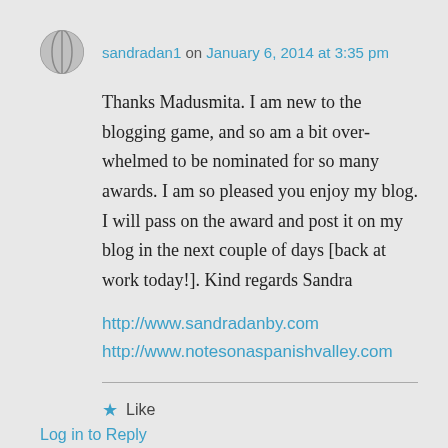sandradan1 on January 6, 2014 at 3:35 pm
Thanks Madusmita. I am new to the blogging game, and so am a bit overwhelmed to be nominated for so many awards. I am so pleased you enjoy my blog. I will pass on the award and post it on my blog in the next couple of days [back at work today!]. Kind regards Sandra
http://www.sandradanby.com
http://www.notesonaspanishvalley.com
Like
Log in to Reply